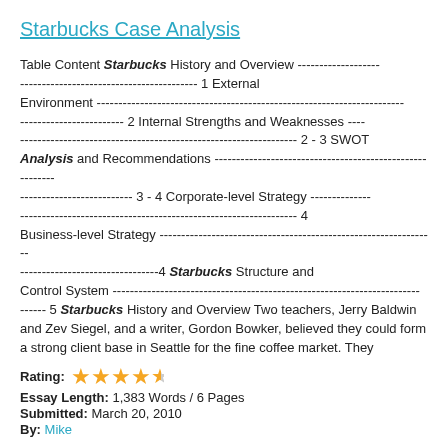Starbucks Case Analysis
Table Content Starbucks History and Overview ------------------- ----------------------------------------- 1 External Environment ----------------------------------------------------------------------- ------------------------ 2 Internal Strengths and Weaknesses ---- ---------------------------------------------------------------- 2 - 3 SWOT Analysis and Recommendations --------------------------------------------------------- -------------------------- 3 - 4 Corporate-level Strategy -------------- ---------------------------------------------------------------- 4 Business-level Strategy ---------------------------------------------------------------- --------------------------------4 Starbucks Structure and Control System ----------------------------------------------------------------------- ------ 5 Starbucks History and Overview Two teachers, Jerry Baldwin and Zev Siegel, and a writer, Gordon Bowker, believed they could form a strong client base in Seattle for the fine coffee market. They
Rating: 4.5 stars
Essay Length: 1,383 Words / 6 Pages
Submitted: March 20, 2010
By: Mike